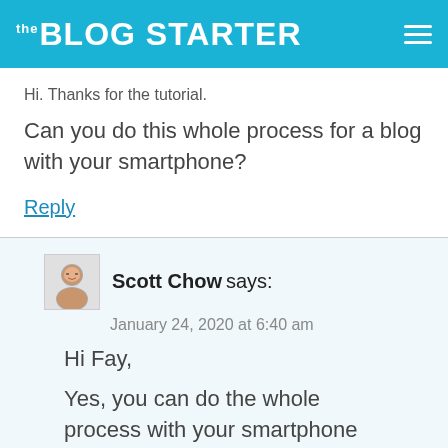the BLOG STARTER
Hi. Thanks for the tutorial.
Can you do this whole process for a blog with your smartphone?
Reply
Scott Chow says:
January 24, 2020 at 6:40 am
Hi Fay,
Yes, you can do the whole process with your smartphone